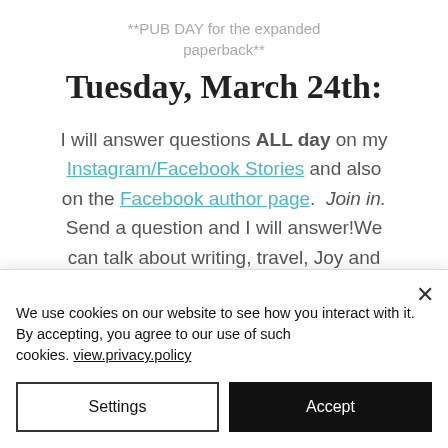**PUB DAY for the expanded paperback**
Tuesday, March 24th:
I will answer questions ALL day on my Instagram/Facebook Stories and also on the Facebook author page. Join in. Send a question and I will answer! We can talk about writing, travel, Joy and
We use cookies on our website to see how you interact with it. By accepting, you agree to our use of such cookies. view.privacy.policy